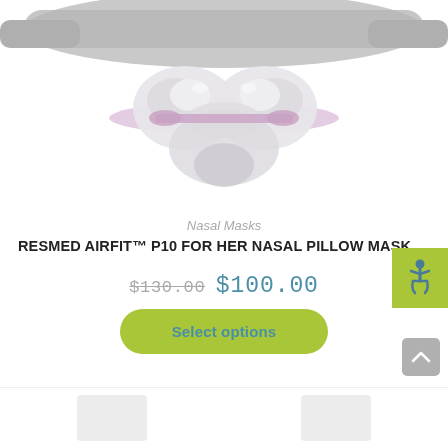[Figure (photo): ResMed AirFit P10 For Her nasal pillow mask product photo showing clear nasal pillows with lavender/pink accents and gray headgear strap against white background]
Nasal Masks
RESMED AIRFIT™ P10 FOR HER NASAL PILLOW MASK
$130.00 $100.00
Select options